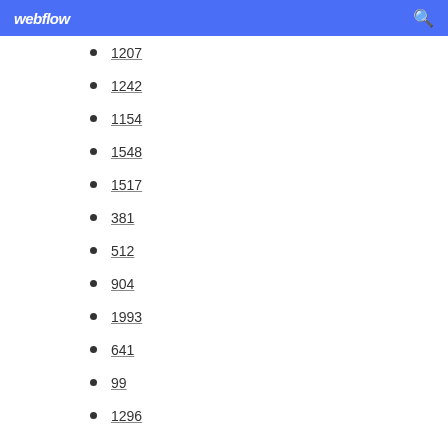webflow
1207
1242
1154
1548
1517
381
512
904
1993
641
99
1296